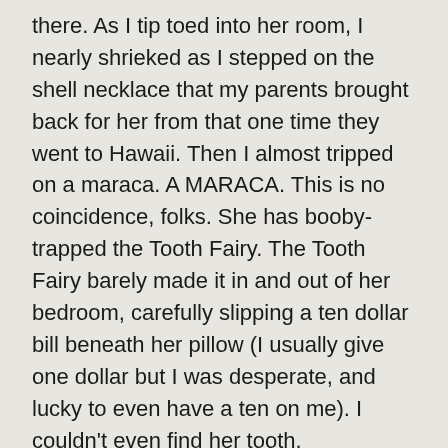there.  As I tip toed into her room, I nearly shrieked as I stepped on the shell necklace that my parents brought back for her from that one time they went to Hawaii.  Then I almost tripped on a maraca.  A MARACA.  This is no coincidence, folks.  She has booby-trapped the Tooth Fairy.  The Tooth Fairy barely made it in and out of her bedroom, carefully slipping a ten dollar bill beneath her pillow (I usually give one dollar but I was desperate, and lucky to even have a ten on me).  I couldn't even find her tooth.
Well, she got her money.  She ultimately never noticed that I didn't take her tooth.  She also didn't notice that I never took her letter.  I found it later the next morning.  Turns out it was all for naught.  There's no competition–the kid wins.
“Dear Tooth Fairy,